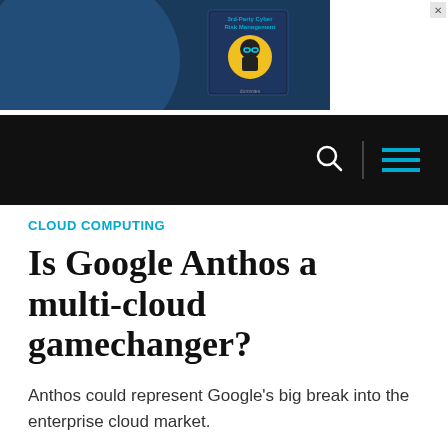[Figure (photo): Advertisement banner showing a book about Third-Party Cyber Risk Management on a dark navy blue background, with a white box on the right side]
Navigation bar with search icon and hamburger menu
CLOUD COMPUTING
Is Google Anthos a multi-cloud gamechanger?
Anthos could represent Google's big break into the enterprise cloud market.